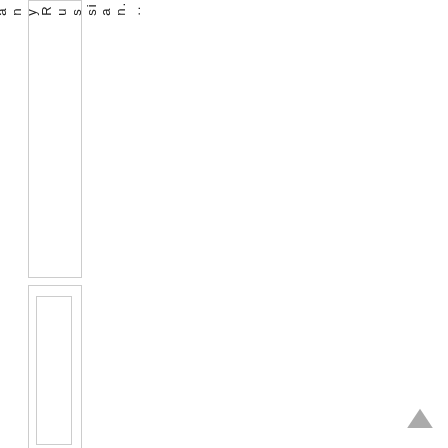e
m
a
n
y
R
u
s
si
a
n.
..
[Figure (other): Two nested rectangular boxes, bottom section, with an empty inner box]